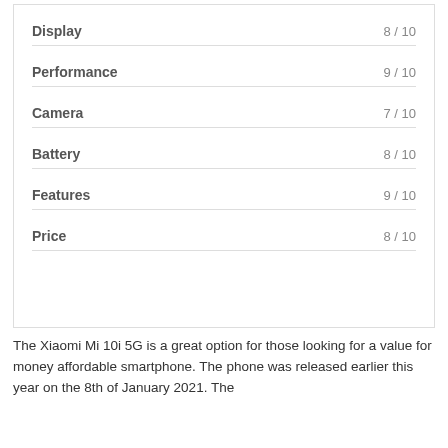| Category | Score |
| --- | --- |
| Display | 8 / 10 |
| Performance | 9 / 10 |
| Camera | 7 / 10 |
| Battery | 8 / 10 |
| Features | 9 / 10 |
| Price | 8 / 10 |
The Xiaomi Mi 10i 5G is a great option for those looking for a value for money affordable smartphone. The phone was released earlier this year on the 8th of January 2021. The